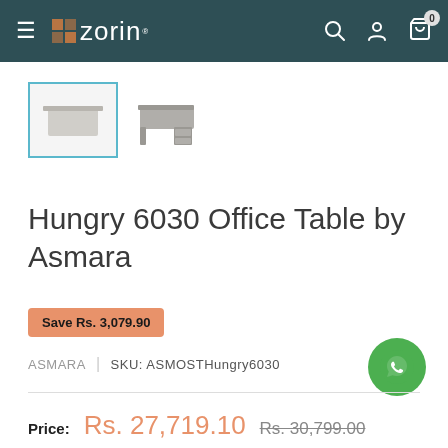zorin
[Figure (photo): Two product thumbnails of an office table. First thumbnail is selected with teal border. Second shows a 3D render of the Hungry 6030 Office Table in grey.]
Hungry 6030 Office Table by Asmara
Save Rs. 3,079.90
ASMARA | SKU: ASMOSTHungry6030
Price: Rs. 27,719.10  Rs. 30,799.00